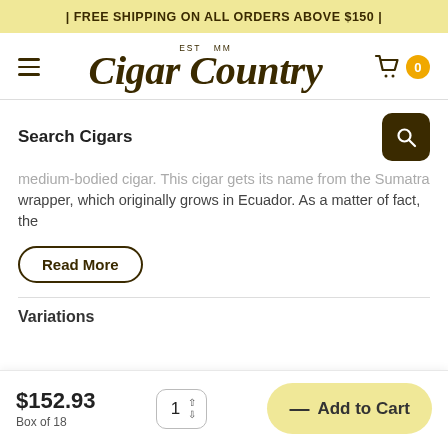| FREE SHIPPING ON ALL ORDERS ABOVE $150 |
[Figure (logo): Cigar Country logo with EST MM text above in script font, hamburger menu icon on left, shopping cart with badge showing 0 on right]
Search Cigars
medium-bodied cigar. This cigar gets its name from the Sumatra wrapper, which originally grows in Ecuador. As a matter of fact, the
Read More
Variations
$152.93
Box of 18
— Add to Cart